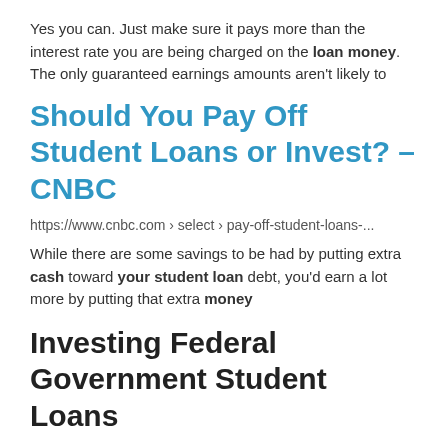Yes you can. Just make sure it pays more than the interest rate you are being charged on the loan money. The only guaranteed earnings amounts aren't likely to
Should You Pay Off Student Loans or Invest? – CNBC
https://www.cnbc.com › select › pay-off-student-loans-...
While there are some savings to be had by putting extra cash toward your student loan debt, you'd earn a lot more by putting that extra money
Investing Federal Government Student Loans